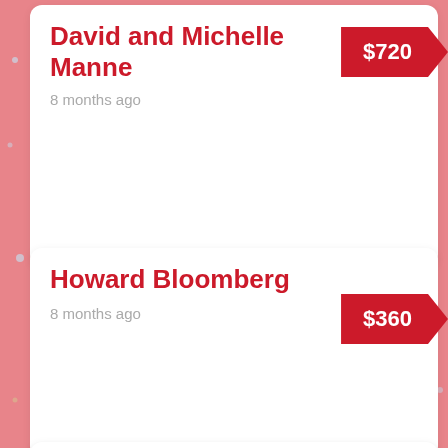David and Michelle Manne
8 months ago
$720
Howard Bloomberg
8 months ago
$360
Anonymous
8 months ago
$108